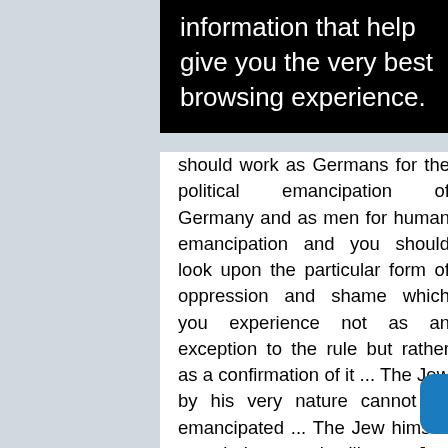information that help give you the very best browsing experience.
should work as Germans for the political emancipation of Germany and as men for human emancipation and you should look upon the particular form of oppression and shame which you experience not as an exception to the rule but rather as a confirmation of it ... The Jew by his very nature cannot be emancipated ... The Jew himself can behave only like a Jew towards the state, i.e. treat it as something foreign, for he opposes his chimerical nationality to actual nationality, his illusory law to actual law, he considers himself entitled to separate himself from humanity,